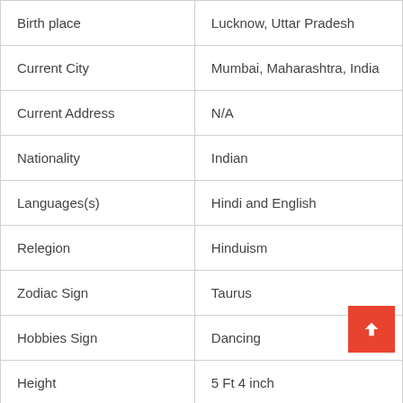|  |  |
| --- | --- |
| Birth place | Lucknow, Uttar Pradesh |
| Current City | Mumbai, Maharashtra, India |
| Current Address | N/A |
| Nationality | Indian |
| Languages(s) | Hindi and English |
| Relegion | Hinduism |
| Zodiac Sign | Taurus |
| Hobbies Sign | Dancing |
| Height | 5 Ft 4 inch |